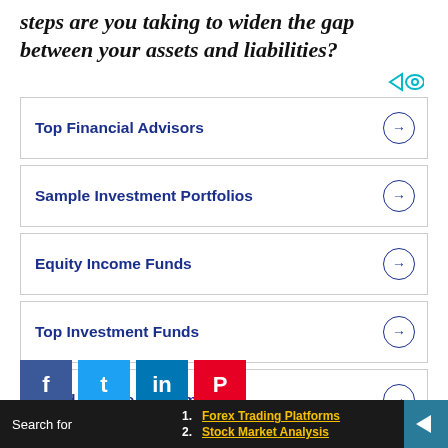steps are you taking to widen the gap between your assets and liabilities?
Top Financial Advisors
Sample Investment Portfolios
Equity Income Funds
Top Investment Funds
Fixed Income Investments
Search for
1. Forex Trading Platforms
2. Stock Market Analysis